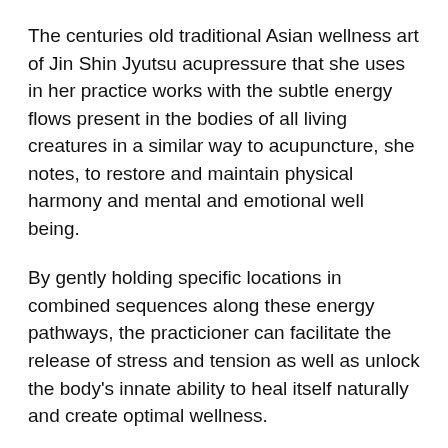The centuries old traditional Asian wellness art of Jin Shin Jyutsu acupressure that she uses in her practice works with the subtle energy flows present in the bodies of all living creatures in a similar way to acupuncture, she notes, to restore and maintain physical harmony and mental and emotional well being.
By gently holding specific locations in combined sequences along these energy pathways, the practicioner can facilitate the release of stress and tension as well as unlock the body's innate ability to heal itself naturally and create optimal wellness.
“The ‘At Home Acupressure for Animals’ sessions are quite different from animal massage where a therapist comes to the home to perform massage on an animal,” said Jordan. “When I come to a client’s home or barn for a consultation, I not only do a Jin Shin Jyutsu light